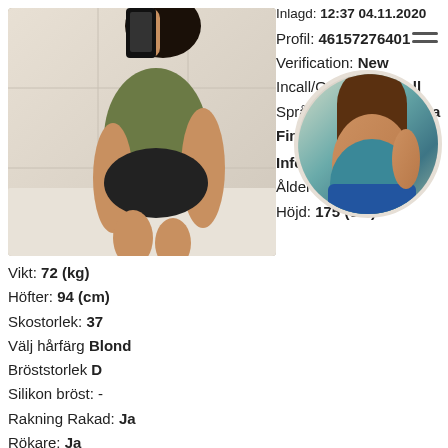[Figure (photo): Main photo of a woman in a bathroom mirror selfie wearing olive green outfit]
Inlagd: 12:37 04.11.2020
Profil: 46157276401
Verification: New
Incall/Outcall: Outcall
Språkkunskap: Svenska Finska
Info
Ålder: 28
Höjd: 175 (cm)
Vikt: 72 (kg)
Höfter: 94 (cm)
Skostorlek: 37
Välj hårfärg Blond
Bröststorlek D
Silikon bröst: -
Rakning Rakad: Ja
Rökare: Ja
Piercingar: -
[Figure (photo): Thumbnail circular photo of a woman in teal/blue outfit]